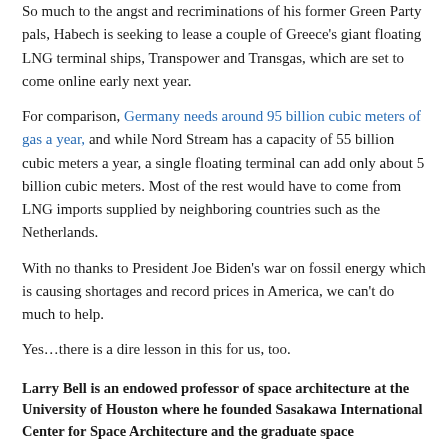So much to the angst and recriminations of his former Green Party pals, Habech is seeking to lease a couple of Greece's giant floating LNG terminal ships, Transpower and Transgas, which are set to come online early next year.
For comparison, Germany needs around 95 billion cubic meters of gas a year, and while Nord Stream has a capacity of 55 billion cubic meters a year, a single floating terminal can add only about 5 billion cubic meters. Most of the rest would have to come from LNG imports supplied by neighboring countries such as the Netherlands.
With no thanks to President Joe Biden's war on fossil energy which is causing shortages and record prices in America, we can't do much to help.
Yes…there is a dire lesson in this for us, too.
Larry Bell is an endowed professor of space architecture at the University of Houston where he founded Sasakawa International Center for Space Architecture and the graduate space architecture program. His latest of 11 books, "Beyond Flagpoles and Footprints: Pioneering the Space Frontier" co-authored with Buzz Aldrin (2021), is available on Amazon along with all others. Read Larry Bell's Reports — More Here.